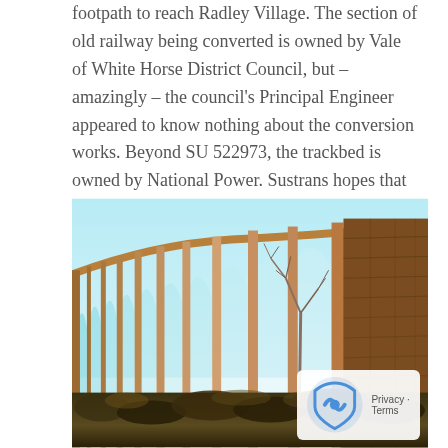footpath to reach Radley Village. The section of old railway being converted is owned by Vale of White Horse District Council, but – amazingly – the council's Principal Engineer appeared to know nothing about the conversion works. Beyond SU 522973, the trackbed is owned by National Power. Sustrans hopes that this section too may become available at a future date. (Michael Steptoe)
[Figure (photo): A Victorian railway viaduct with many stone arches curving away into the distance. A bare winter tree grows beside the tall stone piers. The sky is pale blue above the viaduct. The foreground shows scrubby vegetation. The image has a warm sepia-tinted colour palette.]